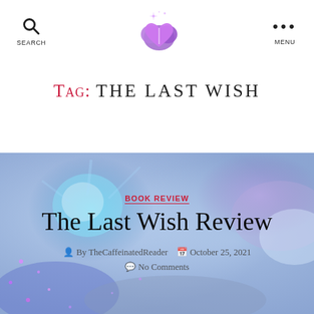Search | [Logo] | Menu
Tag: THE LAST WISH
[Figure (illustration): Abstract blue-purple cosmic/nebula background image with glowing particles and cloud-like forms]
BOOK REVIEW
The Last Wish Review
By TheCaffeinatedReader   October 25, 2021
No Comments